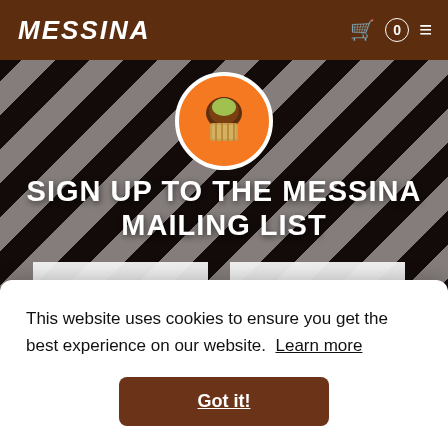MESSINA
[Figure (screenshot): Messina website screenshot showing sign-up page with striped background and ice cream logo]
SIGN UP TO THE MESSINA MAILING LIST
First Name
Last Name
This website uses cookies to ensure you get the best experience on our website.  Learn more
Got it!